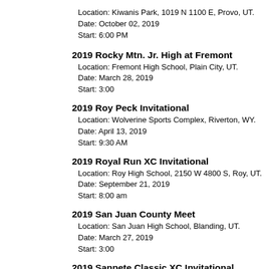Location: Kiwanis Park, 1019 N 1100 E, Provo, UT.
Date: October 02, 2019
Start: 6:00 PM
2019 Rocky Mtn. Jr. High at Fremont
Location: Fremont High School, Plain City, UT.
Date: March 28, 2019
Start: 3:00
2019 Roy Peck Invitational
Location: Wolverine Sports Complex, Riverton, WY.
Date: April 13, 2019
Start: 9:30 AM
2019 Royal Run XC Invitational
Location: Roy High School, 2150 W 4800 S, Roy, UT.
Date: September 21, 2019
Start: 8:00 am
2019 San Juan County Meet
Location: San Juan High School, Blanding, UT.
Date: March 27, 2019
Start: 3:00
2019 Sanpete Classic XC Invitational
Location: Skyline Mountain Resort Golf Course, Fairview, UT.
Date: October 02, 2019
Start: 4:00 pm
2019 SEWAC
Location: Fullmer Stadium, Lusk, WY.
Date: May 04, 2019
Start: 9:30 am